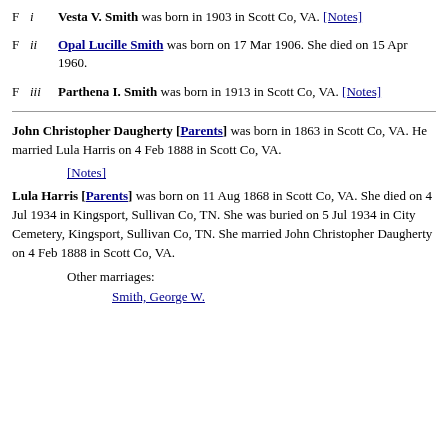F  i  Vesta V. Smith was born in 1903 in Scott Co, VA. [Notes]
F  ii  Opal Lucille Smith was born on 17 Mar 1906. She died on 15 Apr 1960.
F  iii  Parthena I. Smith was born in 1913 in Scott Co, VA. [Notes]
John Christopher Daugherty [Parents] was born in 1863 in Scott Co, VA. He married Lula Harris on 4 Feb 1888 in Scott Co, VA.
[Notes]
Lula Harris [Parents] was born on 11 Aug 1868 in Scott Co, VA. She died on 4 Jul 1934 in Kingsport, Sullivan Co, TN. She was buried on 5 Jul 1934 in City Cemetery, Kingsport, Sullivan Co, TN. She married John Christopher Daugherty on 4 Feb 1888 in Scott Co, VA.
Other marriages:
Smith, George W.